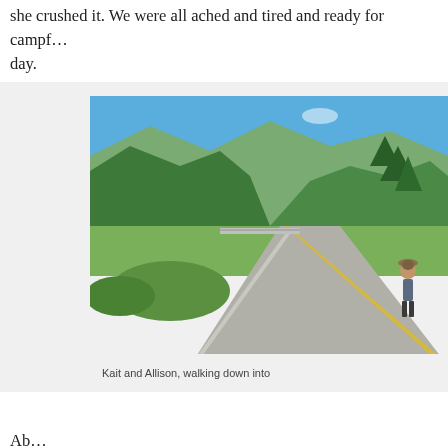she crushed it. We were all ached and tired and ready for campf… day.
[Figure (photo): A person walking down a paved road with forested mountains and a river or highway bridge visible in the background under a clear blue sky.]
Kait and Allison, walking down into
Ab…